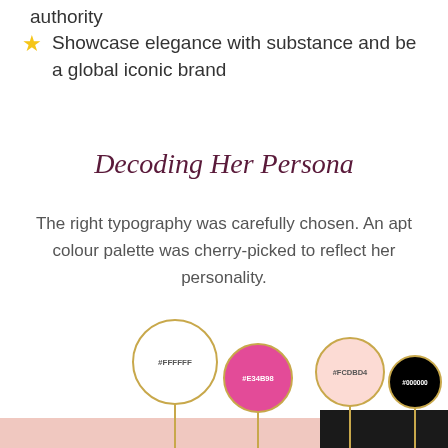authority
Showcase elegance with substance and be a global iconic brand
Decoding Her Persona
The right typography was carefully chosen. An apt colour palette was cherry-picked to reflect her personality.
[Figure (infographic): Four colour swatches on gold stems showing brand palette: #FFFFFF (white), #E34B98 (pink), #FCDBD4 (light pink), #000000 (black), partially visible over a floral background image]